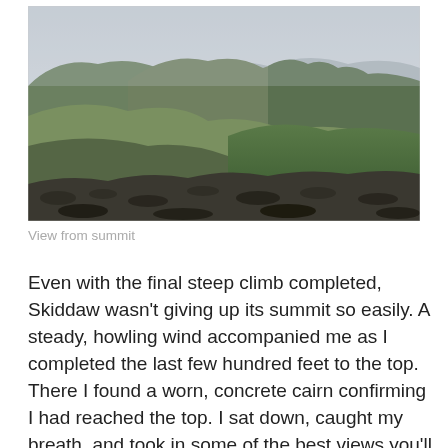[Figure (photo): Panoramic view from Skiddaw summit showing rolling green mountain hills and ridges under an overcast sky, with rocky terrain in the foreground.]
View from summit
Even with the final steep climb completed, Skiddaw wasn't giving up its summit so easily. A steady, howling wind accompanied me as I completed the last few hundred feet to the top. There I found a worn, concrete cairn confirming I had reached the top. I sat down, caught my breath, and took in some of the best views you'll find in all of England.